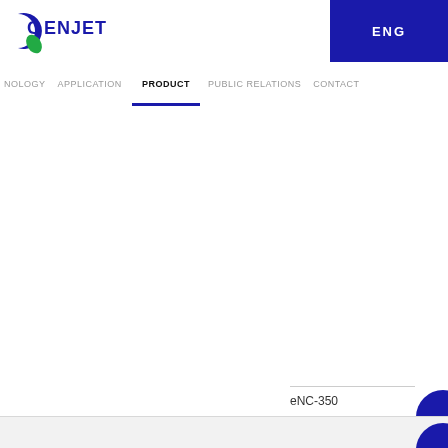[Figure (logo): CENJET logo with blue crescent and green leaf mark, text CENJET in dark blue]
ENG
NOLOGY   APPLICATION   PRODUCT   PUBLIC RELATIONS   CONTACT
eNC-350
eNC-5
[Figure (other): Carousel dot indicators - 7 dots, first dot active (dark teal), remaining 6 dots gray]